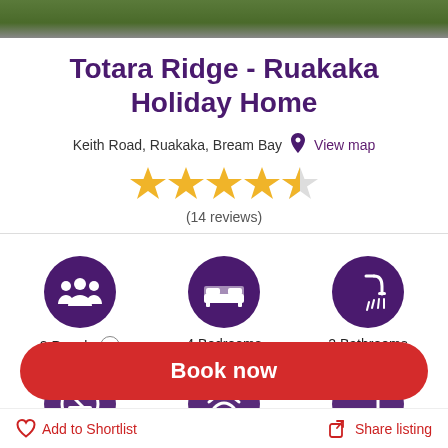[Figure (photo): Top strip showing outdoor scene with grass and gravel path]
Totara Ridge - Ruakaka Holiday Home
Keith Road, Ruakaka, Bream Bay   View map
[Figure (other): 4.5 star rating shown as gold stars]
(14 reviews)
8 People  4 Bedrooms  2 Bathrooms
Book now
Add to Shortlist   Share listing